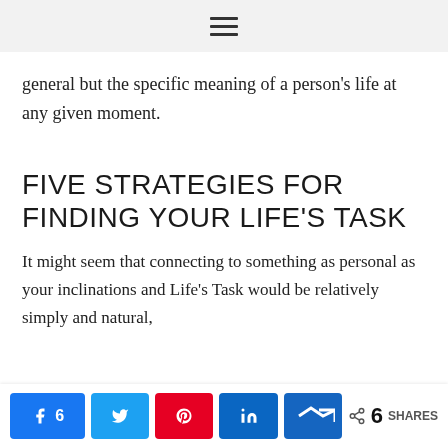≡
general but the specific meaning of a person's life at any given moment.
FIVE STRATEGIES FOR FINDING YOUR LIFE'S TASK
It might seem that connecting to something as personal as your inclinations and Life's Task would be relatively simple and natural,
6 SHARES